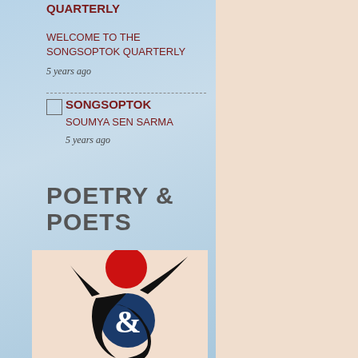QUARTERLY
WELCOME TO THE SONGSOPTOK QUARTERLY
5 years ago
SONGSOPTOK
SOUMYA SEN SARMA
5 years ago
POETRY & POETS
[Figure (logo): Poetry & Poets logo: a stylized black human figure with raised arms, a red circle above the head, and a dark blue circle with a white ampersand symbol in the center of the figure, on a light peach background.]